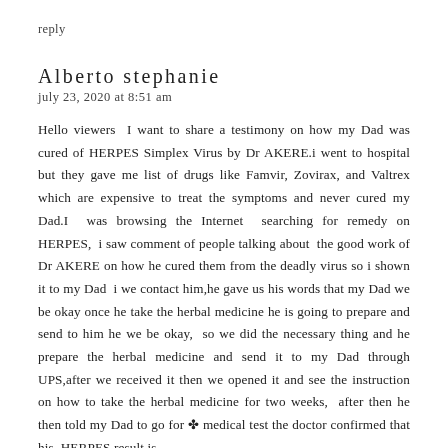reply
Alberto stephanie
july 23, 2020 at 8:51 am
Hello viewers I want to share a testimony on how my Dad was cured of HERPES Simplex Virus by Dr AKERE.i went to hospital but they gave me list of drugs like Famvir, Zovirax, and Valtrex which are expensive to treat the symptoms and never cured my Dad.I was browsing the Internet searching for remedy on HERPES, i saw comment of people talking about the good work of Dr AKERE on how he cured them from the deadly virus so i shown it to my Dad i we contact him,he gave us his words that my Dad we be okay once he take the herbal medicine he is going to prepare and send to him he we be okay, so we did the necessary thing and he prepare the herbal medicine and send it to my Dad through UPS,after we received it then we opened it and see the instruction on how to take the herbal medicine for two weeks, after then he then told my Dad to go for a medical test the doctor confirmed that his HERPES result is